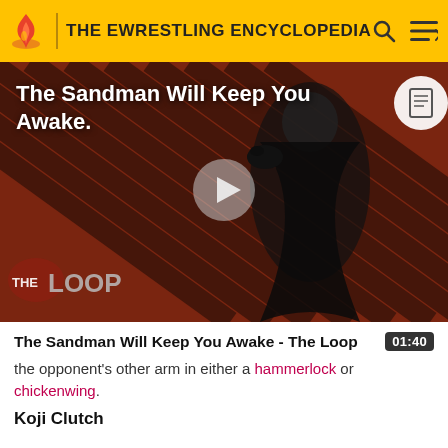THE EWRESTLING ENCYCLOPEDIA
[Figure (screenshot): Video thumbnail showing a dark-cloaked figure against a red diagonal-striped background with 'THE LOOP' logo overlay and a play button. Title overlay reads 'The Sandman Will Keep You Awake.']
The Sandman Will Keep You Awake - The Loop
the opponent's other arm in either a hammerlock or chickenwing.
Koji Clutch